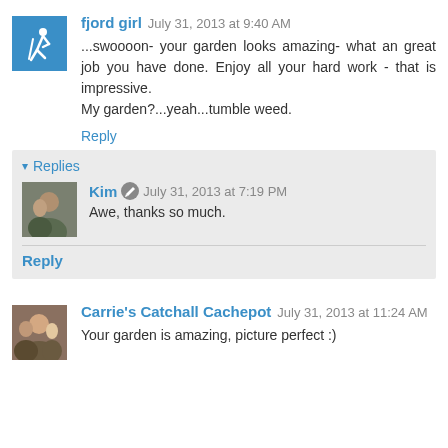[Figure (illustration): Blue square avatar with white hiker/walker icon for user fjord girl]
fjord girl  July 31, 2013 at 9:40 AM
...swoooon- your garden looks amazing- what an great job you have done. Enjoy all your hard work - that is impressive.
My garden?...yeah...tumble weed.
Reply
▾ Replies
[Figure (photo): Small photo avatar of Kim showing two people]
Kim  July 31, 2013 at 7:19 PM
Awe, thanks so much.
Reply
[Figure (photo): Small photo avatar of Carrie showing family]
Carrie's Catchall Cachepot  July 31, 2013 at 11:24 AM
Your garden is amazing, picture perfect :)